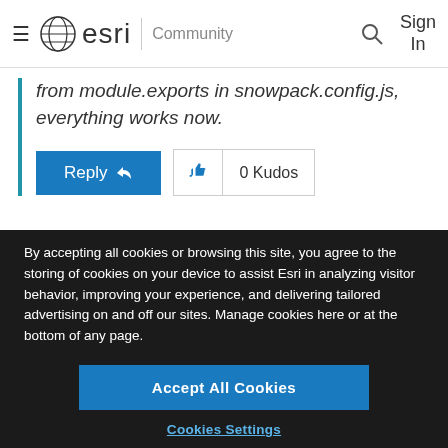[Figure (screenshot): Esri Community website header with hamburger menu, globe logo, esri wordmark, Community label, search icon, and Sign In button]
from module.exports in snowpack.config.js, everything works now.
[Figure (screenshot): Reply button and 0 Kudos thumbs-up button]
By accepting all cookies or browsing this site, you agree to the storing of cookies on your device to assist Esri in analyzing visitor behavior, improving your experience, and delivering tailored advertising on and off our sites. Manage cookies here or at the bottom of any page.
Accept All Cookies
Cookies Settings